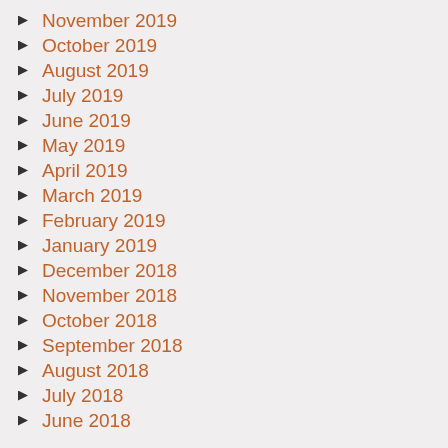November 2019
October 2019
August 2019
July 2019
June 2019
May 2019
April 2019
March 2019
February 2019
January 2019
December 2018
November 2018
October 2018
September 2018
August 2018
July 2018
June 2018